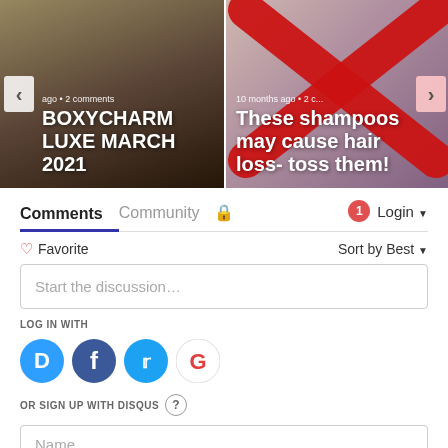[Figure (screenshot): Carousel card 1: 'BOXYCHARM LUXE MARCH 2021' blog post thumbnail with dark cosmetics background, left nav arrow, metadata 'ago • 2 comments']
[Figure (screenshot): Carousel card 2: 'These shampoos may cause hair loss- toss them!' blog post thumbnail with red X overlay on products, right nav arrow, metadata '10 months ago • 2 c...']
Comments
Community
🔒
1  Login ▾
♡ Favorite
Sort by Best ▾
Start the discussion…
LOG IN WITH
[Figure (logo): Disqus social login button (blue circle with D)]
[Figure (logo): Facebook social login button (dark blue circle with f)]
[Figure (logo): Twitter social login button (light blue circle with bird)]
[Figure (logo): Google social login button (white circle with G)]
OR SIGN UP WITH DISQUS ?
Name